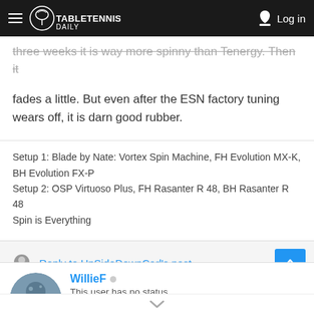TableTennisDaily — Log in
three weeks it is way more spinny than Tenergy. Then it fades a little. But even after the ESN factory tuning wears off, it is darn good rubber.
Setup 1: Blade by Nate: Vortex Spin Machine, FH Evolution MX-K, BH Evolution FX-P
Setup 2: OSP Virtuoso Plus, FH Rasanter R 48, BH Rasanter R 48
Spin is Everything
Reply to UpSideDownCarl's post
WillieF ○
This user has no status.
TTD Member
4 0